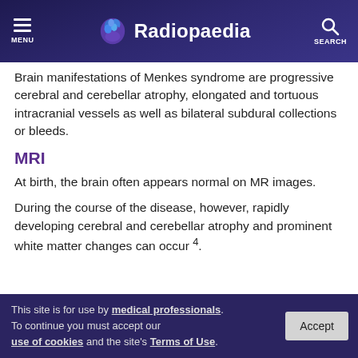Radiopaedia
Brain manifestations of Menkes syndrome are progressive cerebral and cerebellar atrophy, elongated and tortuous intracranial vessels as well as bilateral subdural collections or bleeds.
MRI
At birth, the brain often appears normal on MR images.
During the course of the disease, however, rapidly developing cerebral and cerebellar atrophy and prominent white matter changes can occur 4.
This site is for use by medical professionals. To continue you must accept our use of cookies and the site's Terms of Use.